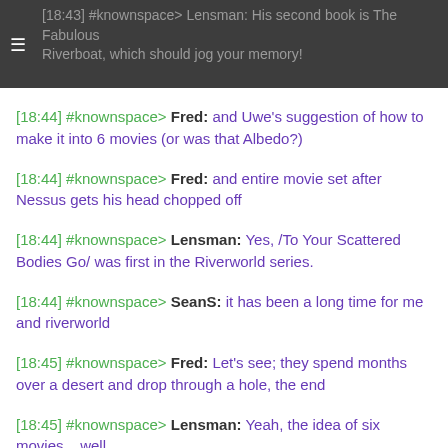[18:43] #knownspace> Lensman: His second book is The Fabulous Riverboat, which should jog your memory!
[18:44] #knownspace> Fred: and Uwe's suggestion of how to make it into 6 movies (or was that Albedo?)
[18:44] #knownspace> Fred: and entire movie set after Nessus gets his head chopped off
[18:44] #knownspace> Lensman: Yes, /To Your Scattered Bodies Go/ was first in the Riverworld series.
[18:44] #knownspace> SeanS: it has been a long time for me and riverworld
[18:45] #knownspace> Fred: Let's see; they spend months over a desert and drop through a hole, the end
[18:45] #knownspace> Lensman: Yeah, the idea of six movies... well,